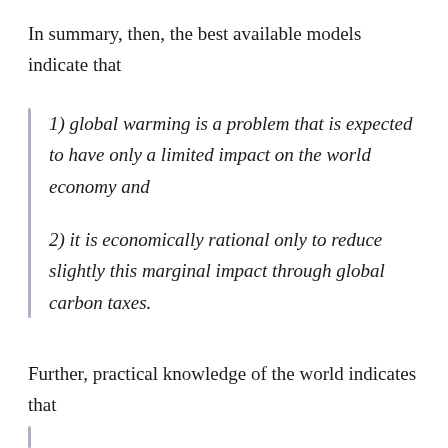In summary, then, the best available models indicate that
1) global warming is a problem that is expected to have only a limited impact on the world economy and
2) it is economically rational only to reduce slightly this marginal impact through global carbon taxes.
Further, practical knowledge of the world indicates that